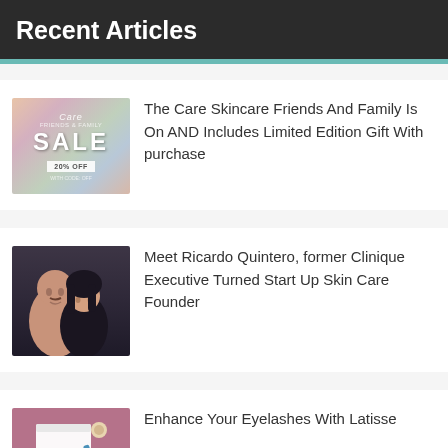Recent Articles
[Figure (photo): Care Skincare Friends & Family Sale promotional image showing flowers and SALE text with 20% OFF badge]
The Care Skincare Friends And Family Is On AND Includes Limited Edition Gift With purchase
[Figure (photo): Photo of Ricardo Quintero, an older man, posing with a younger woman]
Meet Ricardo Quintero, former Clinique Executive Turned Start Up Skin Care Founder
[Figure (photo): Latisse product on a pink/mauve background with a white card or booklet]
Enhance Your Eyelashes With Latisse